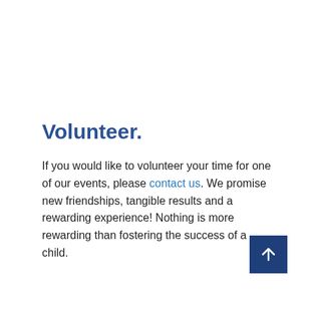Volunteer.
If you would like to volunteer your time for one of our events, please contact us. We promise new friendships, tangible results and a rewarding experience! Nothing is more rewarding than fostering the success of a child.
[Figure (other): Dark blue square button with a white upward-pointing arrow icon]